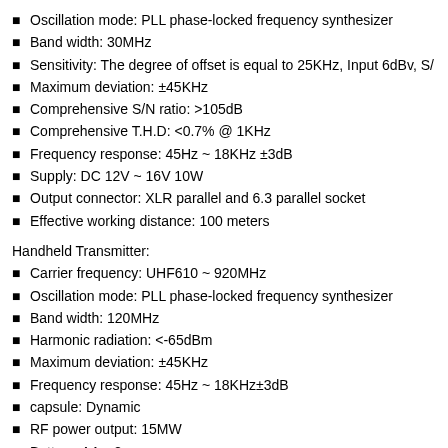Oscillation mode: PLL phase-locked frequency synthesizer
Band width: 30MHz
Sensitivity: The degree of offset is equal to 25KHz, Input 6dBv, S/
Maximum deviation: ±45KHz
Comprehensive S/N ratio: >105dB
Comprehensive T.H.D: <0.7% @ 1KHz
Frequency response: 45Hz ~ 18KHz ±3dB
Supply: DC 12V ~ 16V 10W
Output connector: XLR parallel and 6.3 parallel socket
Effective working distance: 100 meters
Handheld Transmitter:
Carrier frequency: UHF610 ~ 920MHz
Oscillation mode: PLL phase-locked frequency synthesizer
Band width: 120MHz
Harmonic radiation: <-65dBm
Maximum deviation: ±45KHz
Frequency response: 45Hz ~ 18KHz±3dB
capsule: Dynamic
RF power output: 15MW
Battery: AA x 2
Current consumption: <90mA
Continuous working time: 8 hours
Bodypack Transmitter: